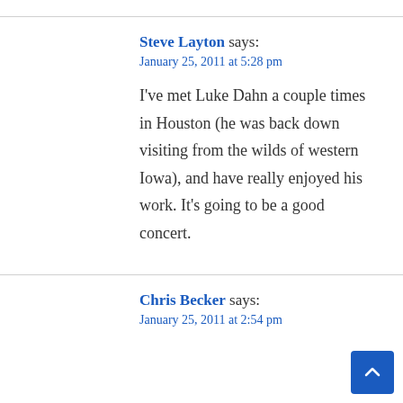Steve Layton says:
January 25, 2011 at 5:28 pm
I've met Luke Dahn a couple times in Houston (he was back down visiting from the wilds of western Iowa), and have really enjoyed his work. It's going to be a good concert.
Chris Becker says:
January 25, 2011 at 2:54 pm